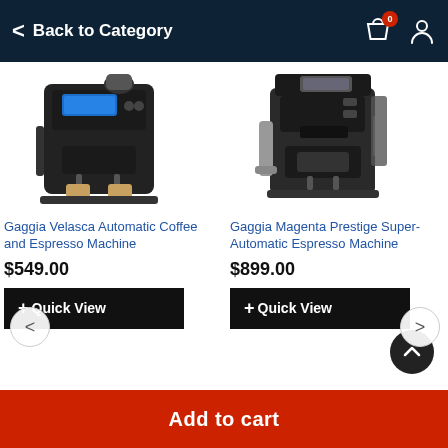Back to Category
[Figure (photo): Gaggia Velasca automatic espresso machine, black, with two coffee cups in front]
Gaggia Velasca Automatic Coffee and Espresso Machine
$549.00
+ Quick View
[Figure (photo): Gaggia Magenta Prestige super-automatic espresso machine, black]
Gaggia Magenta Prestige Super-Automatic Espresso Machine
$899.00
+ Quick View
Add to cart